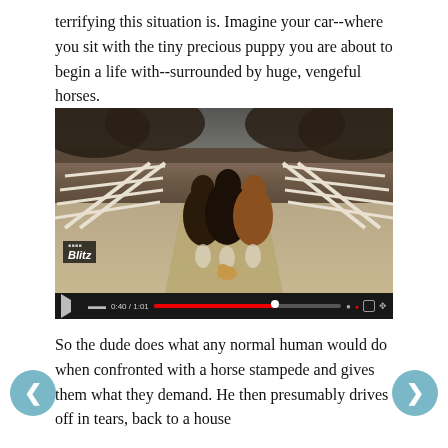terrifying this situation is. Imagine your car--where you sit with the tiny precious puppy you are about to begin a life with--surrounded by huge, vengeful horses.
[Figure (photo): Video player showing a photo of horses running down a fenced dirt road toward the camera with a small dog in front of them. A watermark reading 'Blitz' is visible in the lower left. A red progress bar shows 0:40 / 1:01.]
So the dude does what any normal human would do when confronted with a horse stampede and gives them what they demand. He then presumably drives off in tears, back to a house